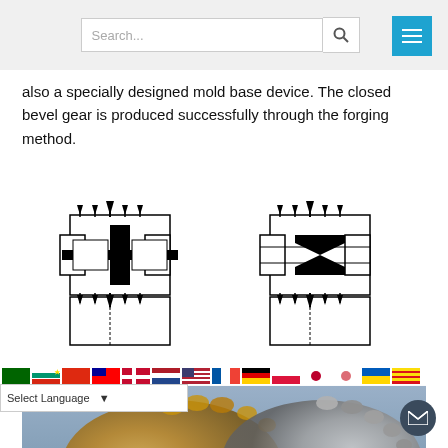also a specially designed mold base device. The closed bevel gear is produced successfully through the forging method.
[Figure (engineering-diagram): Two schematic diagrams of closed-die forging mold configurations for bevel gear production. Left diagram shows a square mold with central black filled region (billet/workpiece) and arrows indicating applied forces from top, bottom, left, and right. Right diagram shows a similar mold configuration with a formed bevel gear shape (hourglass/bowtie profile) in the center with force arrows.]
[Figure (photo): Photograph of two bronze/brass bevel gears showing the finished forged parts with teeth.]